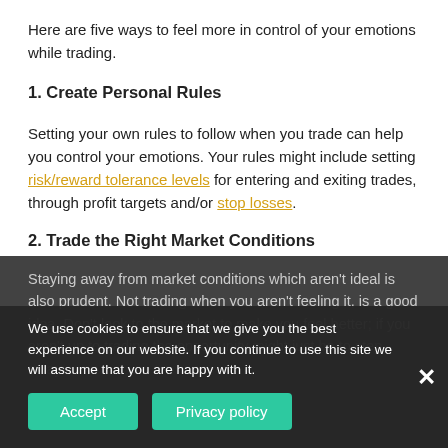Here are five ways to feel more in control of your emotions while trading.
1. Create Personal Rules
Setting your own rules to follow when you trade can help you control your emotions. Your rules might include setting risk/reward tolerance levels for entering and exiting trades, through profit targets and/or stop losses.
2. Trade the Right Market Conditions
Staying away from market conditions which aren't ideal is also prudent. Not trading when you aren't feeling it, is a good idea. Don't look to the market to make you feel better; if you aren't up to trading the opportunity might just be to step away.
We use cookies to ensure that we give you the best experience on our website. If you continue to use this site we will assume that you are happy with it.